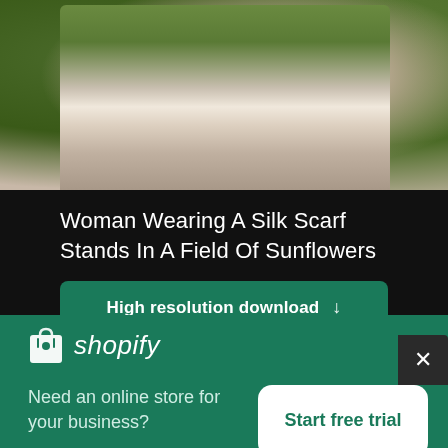[Figure (photo): Woman wearing a silk scarf standing in a field of sunflowers, upper body visible, green foliage background]
Woman Wearing A Silk Scarf Stands In A Field Of Sunflowers
High resolution download ↓
[Figure (photo): Partial view of a sky with clouds, second image below the download button]
[Figure (logo): Shopify logo — shopping bag icon with 'shopify' text in italic]
Need an online store for your business?
Start free trial